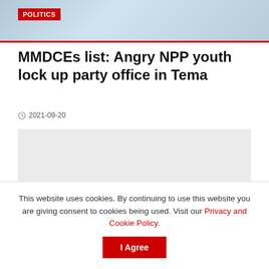POLITICS
MMDCEs list: Angry NPP youth lock up party office in Tema
2021-09-20
[Figure (photo): Gray placeholder image block for article photo]
This website uses cookies. By continuing to use this website you are giving consent to cookies being used. Visit our Privacy and Cookie Policy.